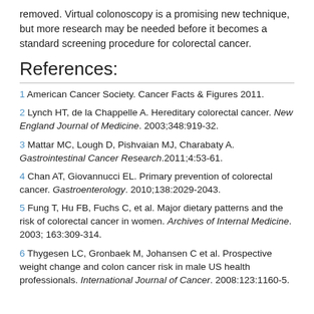removed. Virtual colonoscopy is a promising new technique, but more research may be needed before it becomes a standard screening procedure for colorectal cancer.
References:
1 American Cancer Society. Cancer Facts & Figures 2011.
2 Lynch HT, de la Chappelle A. Hereditary colorectal cancer. New England Journal of Medicine. 2003;348:919-32.
3 Mattar MC, Lough D, Pishvaian MJ, Charabaty A. Gastrointestinal Cancer Research.2011;4:53-61.
4 Chan AT, Giovannucci EL. Primary prevention of colorectal cancer. Gastroenterology. 2010;138:2029-2043.
5 Fung T, Hu FB, Fuchs C, et al. Major dietary patterns and the risk of colorectal cancer in women. Archives of Internal Medicine. 2003; 163:309-314.
6 Thygesen LC, Gronbaek M, Johansen C et al. Prospective weight change and colon cancer risk in male US health professionals. International Journal of Cancer. 2008:123:1160-5.